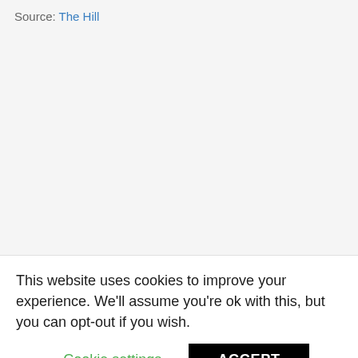Source: The Hill
This website uses cookies to improve your experience. We'll assume you're ok with this, but you can opt-out if you wish.
Cookie settings
ACCEPT